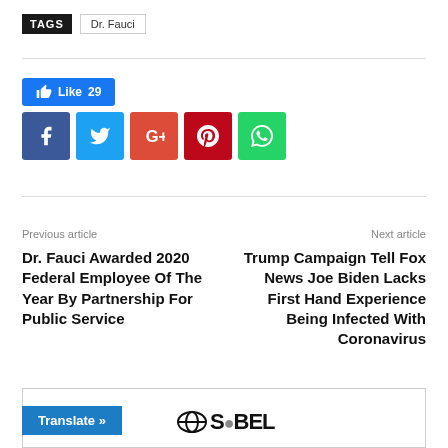TAGS   Dr. Fauci
[Figure (infographic): Social sharing buttons: Like 29 (blue), Facebook (dark blue), Twitter (light blue), Google+ (red-orange), Pinterest (dark red), WhatsApp (green)]
Previous article
Next article
Dr. Fauci Awarded 2020 Federal Employee Of The Year By Partnership For Public Service
Trump Campaign Tell Fox News Joe Biden Lacks First Hand Experience Being Infected With Coronavirus
[Figure (screenshot): Bottom box with Translate button and SOBEL logo]